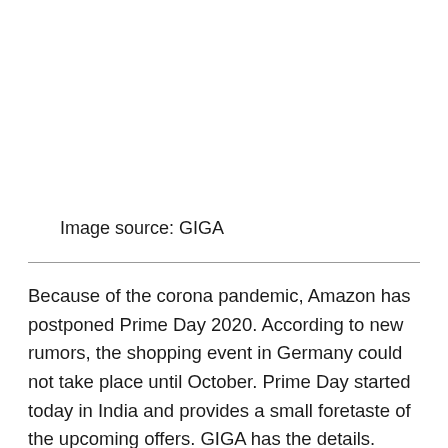Image source: GIGA
Because of the corona pandemic, Amazon has postponed Prime Day 2020. According to new rumors, the shopping event in Germany could not take place until October. Prime Day started today in India and provides a small foretaste of the upcoming offers. GIGA has the details.